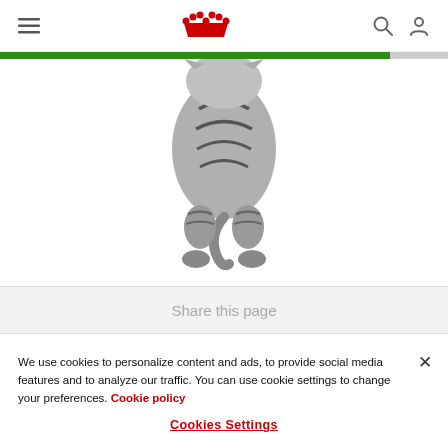Royal Canin navigation header with hamburger menu, crown logo, search and account icons
[Figure (photo): Black and white photo of a tabby cat viewed from behind, walking toward the viewer, showing its striped back, tail, and paws]
Share this page
We use cookies to personalize content and ads, to provide social media features and to analyze our traffic. You can use cookie settings to change your preferences. Cookie policy
Cookies Settings